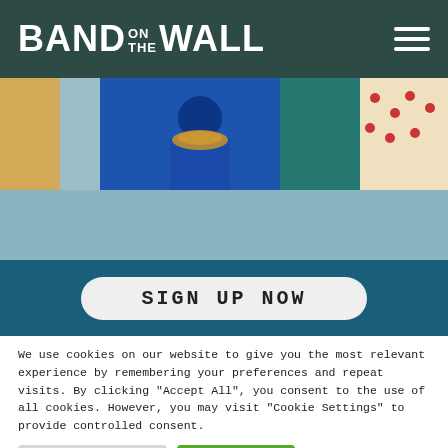BAND ON THE WALL
[Figure (photo): Decorative image strip showing colorful traditional costumes and patterns]
SIGN UP NOW
We use cookies on our website to give you the most relevant experience by remembering your preferences and repeat visits. By clicking "Accept All", you consent to the use of all cookies. However, you may visit "Cookie Settings" to provide controlled consent.